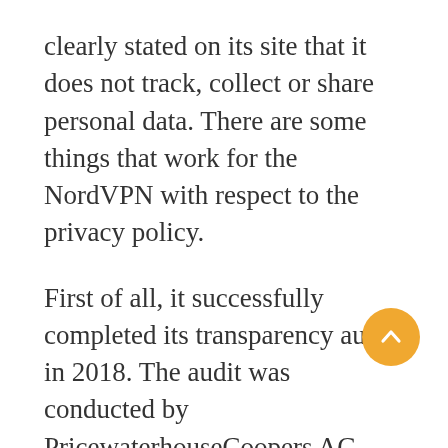clearly stated on its site that it does not track, collect or share personal data. There are some things that work for the NordVPN with respect to the privacy policy.
First of all, it successfully completed its transparency audit in 2018. The audit was conducted by PricewaterhouseCoopers AG, Zurich, one of the largest audit firms in the world. In January 2019, the audit was published, which clearly indicates that NordVPN is transparent in its activities.
Furthermore, NordVPN has never been